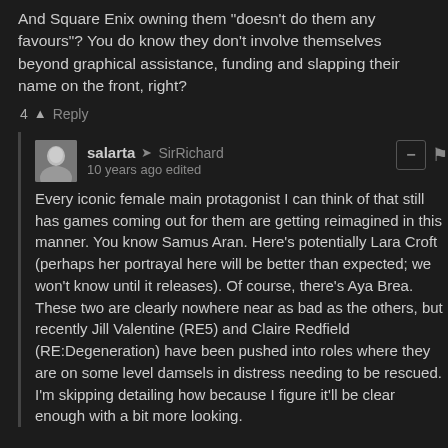And Square Enix owning them "doesn't do them any favours"? You do know they don't involve themselves beyond graphical assistance, funding and slapping their name on the front, right?
4  ▲  Reply
salarta → SirRichard
10 years ago edited
Every iconic female main protagonist I can think of that still has games coming out for them are getting reimagined in this manner. You know Samus Aran. Here's potentially Lara Croft (perhaps her portrayal here will be better than expected; we won't know until it releases). Of course, there's Aya Brea. These two are clearly nowhere near as bad as the others, but recently Jill Valentine (RE5) and Claire Redfield (RE:Degeneration) have been pushed into roles where they are on some level damsels in distress needing to be rescued. I'm skipping detailing how because I figure it'll be clear enough with a bit more looking.